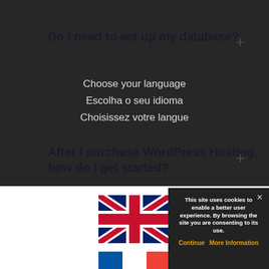Do I need to set up my database?
Choose your language
Escolha o seu idioma
Choisissez votre langue
After I purchase WordPress Hosting, how do I get started?
[Figure (illustration): UK flag (Union Jack) - language selection option for English]
[Figure (illustration): French flag (tricolor: blue, white, red) - language selection option for French]
[Figure (illustration): Portuguese flag (green and red with emblem) - language selection option for Portuguese]
This site uses cookies to enable a better user experience. By browsing the site you are consenting to its use.
Continue   More Information